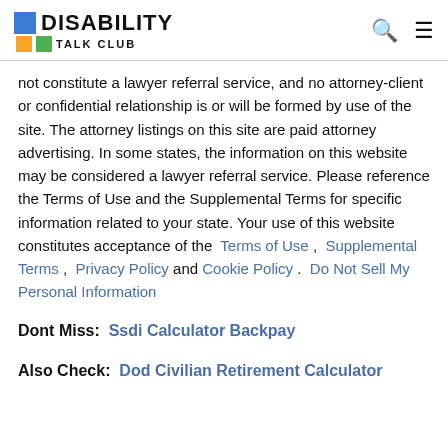DISABILITY TALK CLUB
not constitute a lawyer referral service, and no attorney-client or confidential relationship is or will be formed by use of the site. The attorney listings on this site are paid attorney advertising. In some states, the information on this website may be considered a lawyer referral service. Please reference the Terms of Use and the Supplemental Terms for specific information related to your state. Your use of this website constitutes acceptance of the Terms of Use , Supplemental Terms , Privacy Policy and Cookie Policy . Do Not Sell My Personal Information
Dont Miss: Ssdi Calculator Backpay
Also Check: Dod Civilian Retirement Calculator